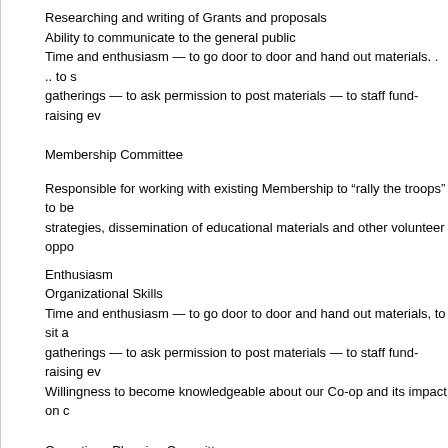Researching and writing of Grants and proposals
Ability to communicate to the general public
Time and enthusiasm — to go door to door and hand out materials. . .. to s gatherings — to ask permission to post materials — to staff fund-raising ev
Membership Committee
Responsible for working with existing Membership to “rally the troops” to be strategies, dissemination of educational materials and other volunteer oppo
Enthusiasm
Organizational Skills
Time and enthusiasm — to go door to door and hand out materials, to sit a gatherings — to ask permission to post materials — to staff fund-raising ev
Willingness to become knowledgeable about our Co-op and its impact on c
Operations Planning Committee
Responsible for planning and implementing the detailed operational eleme including:
Retail experience — grocery experience would be very helpful
Understands inventory, purchasing, daily operations, etc.